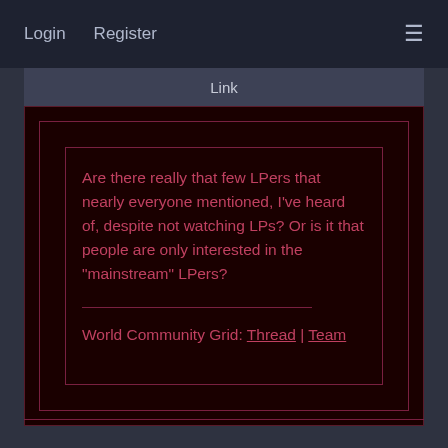Login   Register
Link
Are there really that few LPers that nearly everyone mentioned, I've heard of, despite not watching LPs? Or is it that people are only interested in the "mainstream" LPers?
World Community Grid: Thread | Team